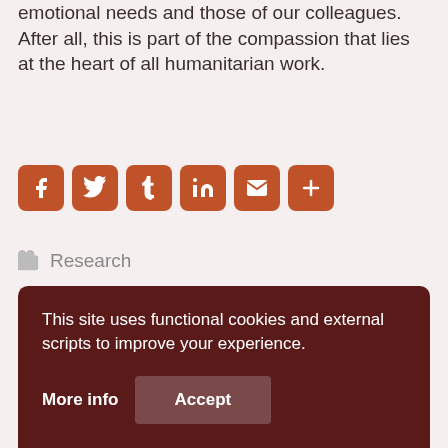emotional needs and those of our colleagues. After all, this is part of the compassion that lies at the heart of all humanitarian work.
[Figure (infographic): Social share buttons: Facebook, Twitter, Tumblr, LinkedIn, Email, More]
Research
burnout, expat aidworkers, national aidworkers, self-care, staff welfare
This site uses functional cookies and external scripts to improve your experience.
More info   Accept